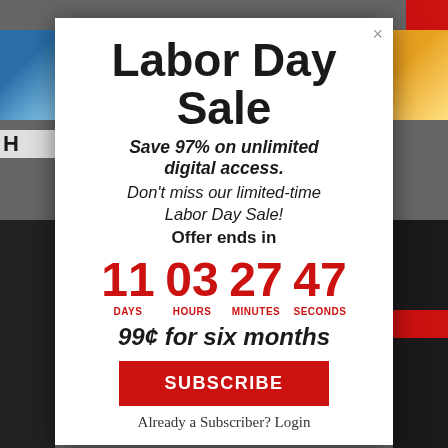Labor Day Sale
Save 97% on unlimited digital access. Don't miss our limited-time Labor Day Sale! Offer ends in
11 DAYS  03 HOURS  27 MINUTES  47 SECONDS
99¢ for six months
SUBSCRIBE
Already a Subscriber? Login